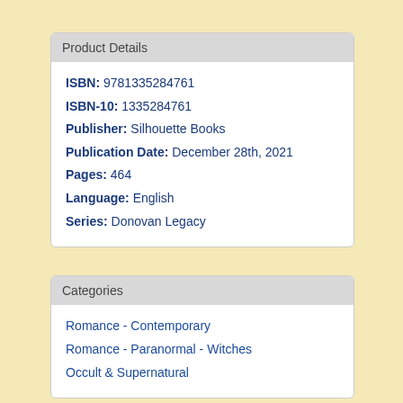Product Details
ISBN: 9781335284761
ISBN-10: 1335284761
Publisher: Silhouette Books
Publication Date: December 28th, 2021
Pages: 464
Language: English
Series: Donovan Legacy
Categories
Romance - Contemporary
Romance - Paranormal - Witches
Occult & Supernatural